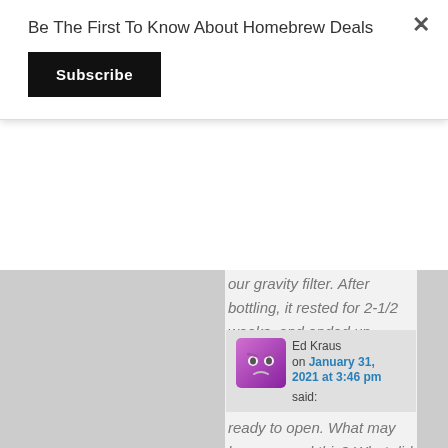Be The First To Know About Homebrew Deals
Subscribe
our gravity filter. After bottling, it rested for 2-1/2 weeks, and ended up popping 2 of 4 corks, and nearly a 3rd one. The 4th bottle, we refrigerated until ready to open. What may have caused this? What did we do wrong?
Ed Kraus on January 31, 2021 at 3:46 pm said: